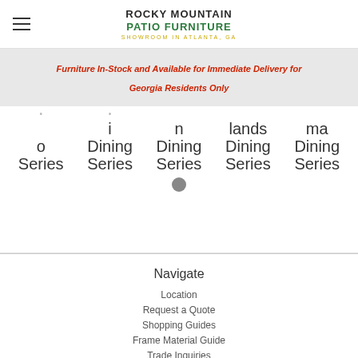ROCKY MOUNTAIN PATIO FURNITURE SHOWROOM IN ATLANTA, GA
Furniture In-Stock and Available for Immediate Delivery for Georgia Residents Only
[Figure (other): Partial carousel showing furniture series names: 'o Series', 'i Dining Series', 'n Dining Series', 'lands Dining Series', 'ma Dining Series' with a circular dot indicator below]
Navigate
Location
Request a Quote
Shopping Guides
Frame Material Guide
Trade Inquiries
Sitemap